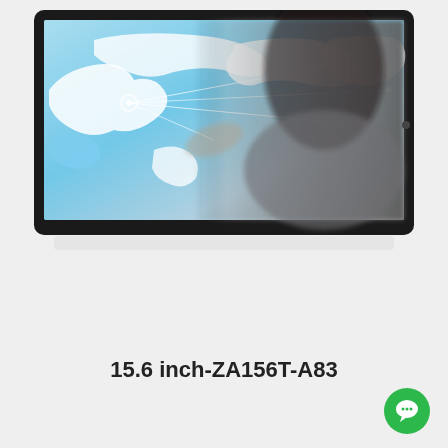[Figure (photo): A 15.6 inch touchscreen monitor with black bezel displaying a world map with blue continents and a blurred person in the background touching the screen. The monitor has a slight reflection below it on a light grey background.]
15.6 inch-ZA156T-A83
[Figure (illustration): Green circular chat/messaging button icon in the bottom-right corner]